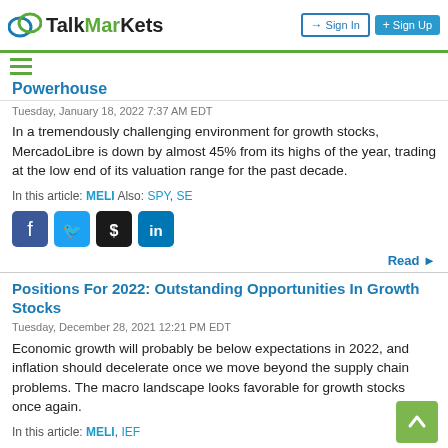TalkMarkets | Sign In | Sign Up
Powerhouse
Tuesday, January 18, 2022 7:37 AM EDT
In a tremendously challenging environment for growth stocks, MercadoLibre is down by almost 45% from its highs of the year, trading at the low end of its valuation range for the past decade.
In this article: MELI Also: SPY, SE
Read
Positions For 2022: Outstanding Opportunities In Growth Stocks
Tuesday, December 28, 2021 12:21 PM EDT
Economic growth will probably be below expectations in 2022, and inflation should decelerate once we move beyond the supply chain problems. The macro landscape looks favorable for growth stocks once again.
In this article: MELI, IEF